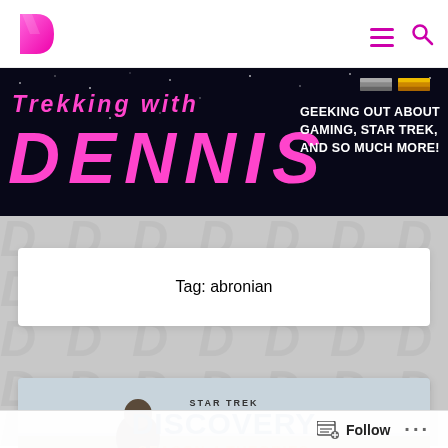[Figure (logo): Pink stylized D logo for 'Trekking with Dennis' website with hamburger menu and search icon in pink]
[Figure (photo): Banner for 'Trekking with Dennis' blog — pink italic text on dark space background reading 'Trekking with Dennis' on the left, and 'GEEKING OUT ABOUT GAMING, STAR TREK, AND SO MUCH MORE!' in white bold text on the right]
Tag: abronian
[Figure (photo): Star Trek Discovery Season 4 Theories card image showing a man standing in a field, with text overlay reading 'STAR TREK DISCOVERY SEASON 4 THEORIES']
Follow ...